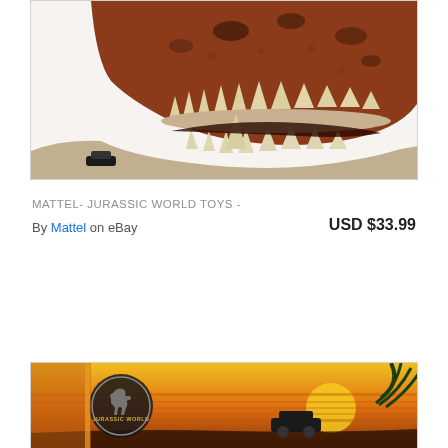[Figure (photo): T-Rex dinosaur mask toy product photo showing open jaws with teeth, brown and black coloring, on white background]
MATTEL- JURASSIC WORLD TOYS -
By Mattel on eBay
USD $33.99
[Figure (photo): Jurassic World branded toy packaging with orange sunset background and T-Rex logo]